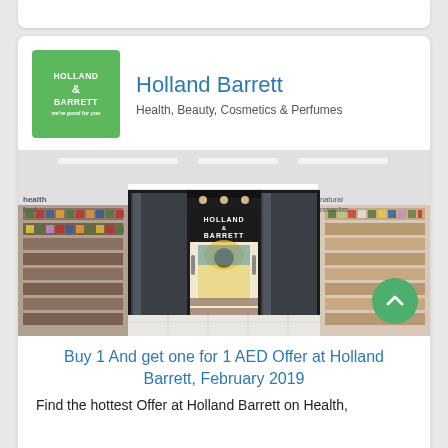[Figure (logo): Holland & Barrett green logo square with white text]
Holland Barrett
Health, Beauty, Cosmetics & Perfumes
[Figure (photo): Holland & Barrett store front showing glass entrance doors with HOLLAND & BARRETT signage, shelves of products visible inside]
Buy 1 And get one for 1 AED Offer at Holland Barrett, February 2019
Find the hottest Offer at Holland Barrett on Health,